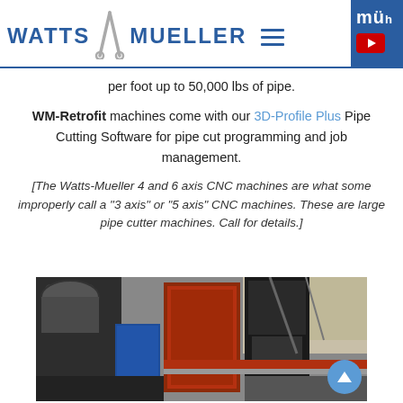Watts Mueller
per foot up to 50,000 lbs of pipe.
WM-Retrofit machines come with our 3D-Profile Plus Pipe Cutting Software for pipe cut programming and job management.
[The Watts-Mueller 4 and 6 axis CNC machines are what some improperly call a "3 axis" or "5 axis" CNC machines. These are large pipe cutter machines. Call for details.]
[Figure (photo): Industrial photo of a large CNC pipe cutting machine in a factory/workshop setting, showing pipes, a red panel, dark machinery, and ceiling structure.]